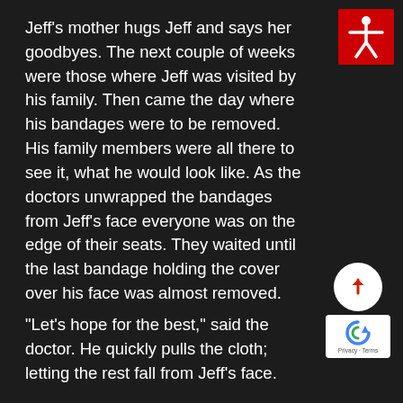Jeff's mother hugs Jeff and says her goodbyes. The next couple of weeks were those where Jeff was visited by his family. Then came the day where his bandages were to be removed. His family members were all there to see it, what he would look like. As the doctors unwrapped the bandages from Jeff's face everyone was on the edge of their seats. They waited until the last bandage holding the cover over his face was almost removed.
[Figure (illustration): Red accessibility icon with white human figure silhouette with arms outstretched]
“Let’s hope for the best,” said the doctor. He quickly pulls the cloth; letting the rest fall from Jeff’s face.
[Figure (illustration): White circular scroll-up button with red upward arrow, and Google reCAPTCHA badge with Privacy - Terms text]